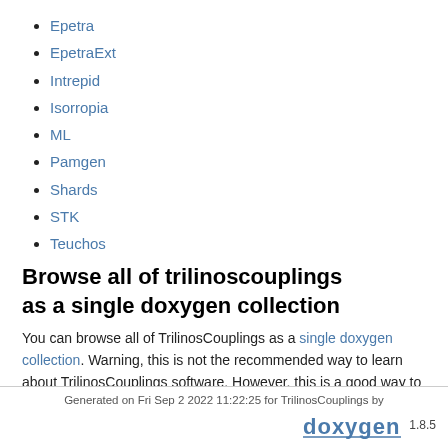Epetra
EpetraExt
Intrepid
Isorropia
ML
Pamgen
Shards
STK
Teuchos
Browse all of trilinoscouplings as a single doxygen collection
You can browse all of TrilinosCouplings as a single doxygen collection. Warning, this is not the recommended way to learn about TrilinosCouplings software. However, this is a good way to browse the directory structure of trilinoscouplings, to locate files, etc.
Generated on Fri Sep 2 2022 11:22:25 for TrilinosCouplings by doxygen 1.8.5